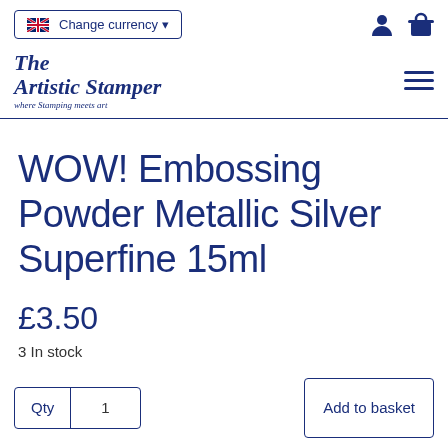Change currency
[Figure (logo): The Artistic Stamper logo with italic serif text and tagline 'where Stamping meets art']
WOW! Embossing Powder Metallic Silver Superfine 15ml
£3.50
3 In stock
Qty  1  Add to basket